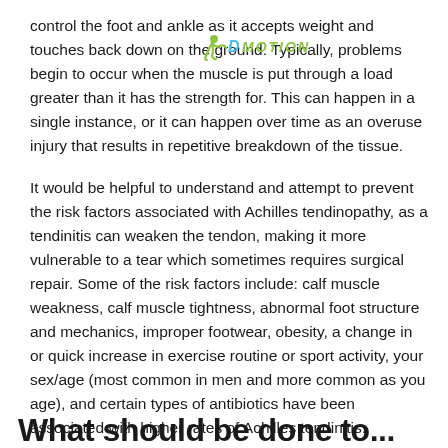control the foot and ankle as it accepts weight and touches back down on the ground. Typically, problems begin to occur when the muscle is put through a load greater than it has the strength for. This can happen in a single instance, or it can happen over time as an overuse injury that results in repetitive breakdown of the tissue.
It would be helpful to understand and attempt to prevent the risk factors associated with Achilles tendinopathy, as a tendinitis can weaken the tendon, making it more vulnerable to a tear which sometimes requires surgical repair. Some of the risk factors include: calf muscle weakness, calf muscle tightness, abnormal foot structure and mechanics, improper footwear, obesity, a change in or quick increase in exercise routine or sport activity, your sex/age (most common in men and more common as you age), and certain types of antibiotics have been associated with higher rates of Achilles tendinitis.
What should be done to...